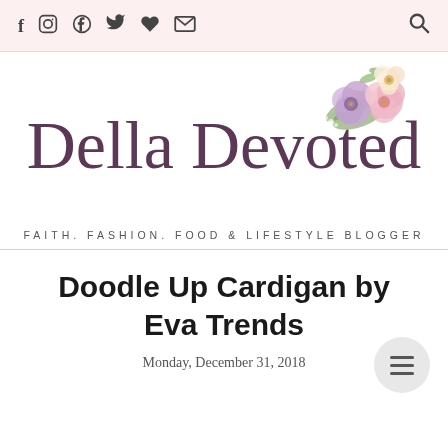Social icons: Facebook, Instagram, Pinterest, Twitter, Heart, Email | Search
[Figure (logo): Della Devoted blog logo with script text and floral watercolor decoration. Tagline: FAITH. FASHION. FOOD & LIFESTYLE BLOGGER]
Doodle Up Cardigan by Eva Trends
Monday, December 31, 2018